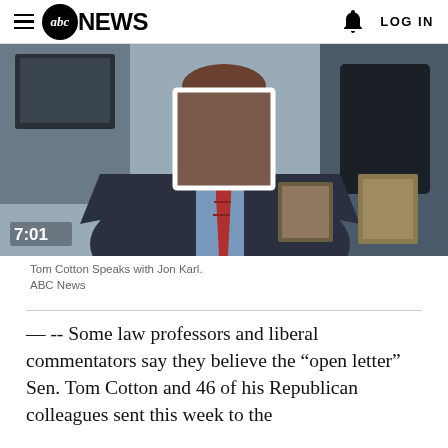abc NEWS  LOG IN
[Figure (photo): Video thumbnail showing a man in a suit with a red tie, face blurred with a white-bordered box. Timestamp 7:01 visible in lower left.]
Tom Cotton Speaks with Jon Karl.
ABC News
&#151; -- Some law professors and liberal commentators say they believe the “open letter” Sen. Tom Cotton and 46 of his Republican colleagues sent this week to the